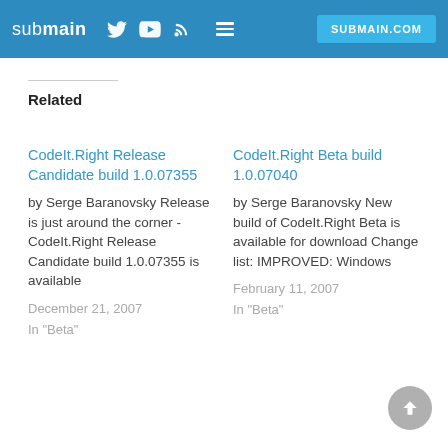submain | Twitter | YouTube | RSS | Menu | SUBMAIN.COM
Related
CodeIt.Right Release Candidate build 1.0.07355
by Serge Baranovsky
Release is just around the corner - CodeIt.Right Release Candidate build 1.0.07355 is available
December 21, 2007
In "Beta"
CodeIt.Right Beta build 1.0.07040
by Serge Baranovsky
New build of CodeIt.Right Beta is available for download Change list: IMPROVED: Windows
February 11, 2007
In "Beta"